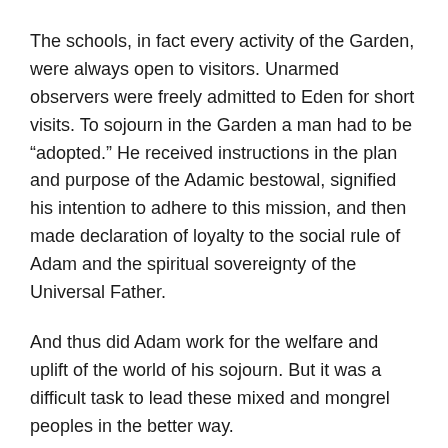The schools, in fact every activity of the Garden, were always open to visitors. Unarmed observers were freely admitted to Eden for short visits. To sojourn in the Garden a man had to be “adopted.” He received instructions in the plan and purpose of the Adamic bestowal, signified his intention to adhere to this mission, and then made declaration of loyalty to the social rule of Adam and the spiritual sovereignty of the Universal Father.
And thus did Adam work for the welfare and uplift of the world of his sojourn. But it was a difficult task to lead these mixed and mongrel peoples in the better way.
Legend of Creation
The story of the creation of Earth in six days was based on the tradition that Adam and Eve had spent just six days in